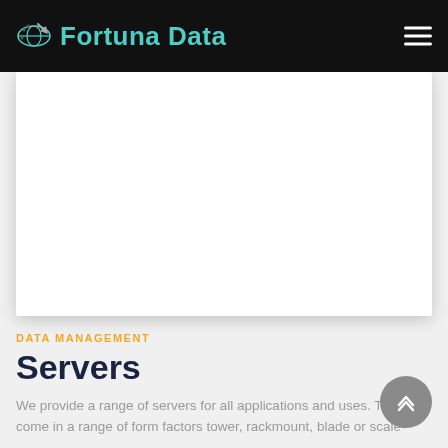Fortuna Data
[Figure (other): White content card area below navigation bar]
DATA MANAGEMENT
Servers
We provide a range of servers for all applications and uses. They come in a range of form factors tower, rackmount, blade or scale-